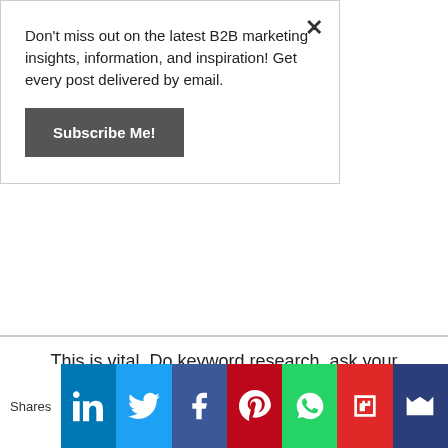Don't miss out on the latest B2B marketing insights, information, and inspiration! Get every post delivered by email.
Subscribe Me!
This is vital. Do keyword research, ask your sales force, and talk to your customers.
There's much, much more on topics ranging from over-used buzzwords to avoid and methods for repurposing and re-using content to the six characteristics of great business storytelling and how to capitalize on events for content creation.
Shares